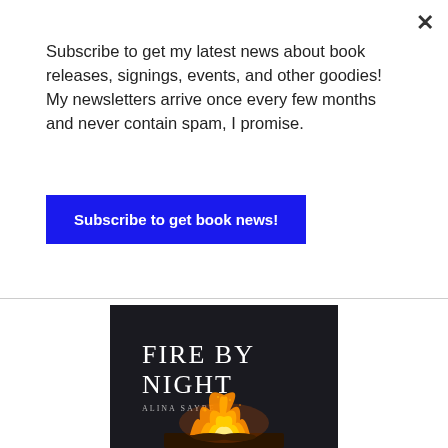×
Subscribe to get my latest news about book releases, signings, events, and other goodies! My newsletters arrive once every few months and never contain spam, I promise.
Subscribe to get book news!
[Figure (illustration): Book cover for 'Fire by Night' by Alina Sayre. Dark background with a campfire at the bottom. Title 'FIRE BY NIGHT' in large serif white letters, author name 'ALINA SAYRE' below in smaller spaced letters.]